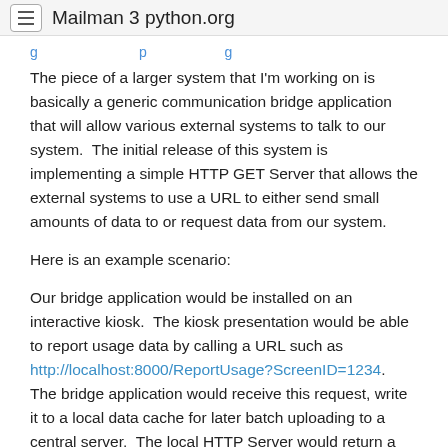Mailman 3 python.org
The piece of a larger system that I'm working on is basically a generic communication bridge application that will allow various external systems to talk to our system.  The initial release of this system is implementing a simple HTTP GET Server that allows the external systems to use a URL to either send small amounts of data to or request data from our system.
Here is an example scenario:
Our bridge application would be installed on an interactive kiosk.  The kiosk presentation would be able to report usage data by calling a URL such as http://localhost:8000/ReportUsage?ScreenID=1234.  The bridge application would receive this request, write it to a local data cache for later batch uploading to a central server.  The local HTTP Server would return a simple text, XML, or JSON response to the calling application to indicate success/failure of the request.
Eventually we want to have a variety of interfaces that are tailored